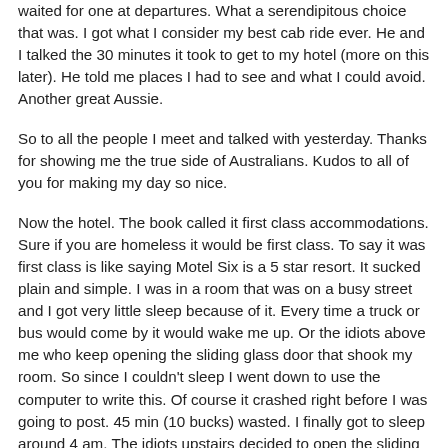waited for one at departures. What a serendipitous choice that was. I got what I consider my best cab ride ever. He and I talked the 30 minutes it took to get to my hotel (more on this later). He told me places I had to see and what I could avoid. Another great Aussie.
So to all the people I meet and talked with yesterday. Thanks for showing me the true side of Australians. Kudos to all of you for making my day so nice.
Now the hotel. The book called it first class accommodations. Sure if you are homeless it would be first class. To say it was first class is like saying Motel Six is a 5 star resort. It sucked plain and simple. I was in a room that was on a busy street and I got very little sleep because of it. Every time a truck or bus would come by it would wake me up. Or the idiots above me who keep opening the sliding glass door that shook my room. So since I couldn't sleep I went down to use the computer to write this. Of course it crashed right before I was going to post. 45 min (10 bucks) wasted. I finally got to sleep around 4 am. The idiots upstairs decided to open the sliding glass door at 6am waking me up.